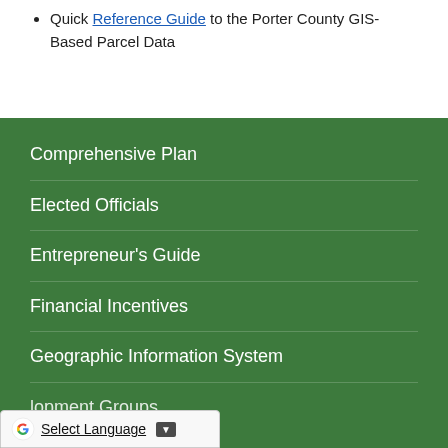Quick Reference Guide to the Porter County GIS- Based Parcel Data
Comprehensive Plan
Elected Officials
Entrepreneur's Guide
Financial Incentives
Geographic Information System
...lopment Groups